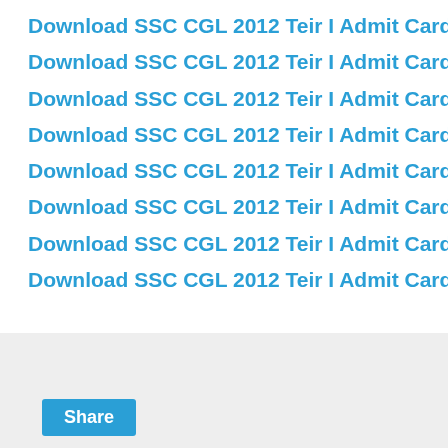Download SSC CGL 2012 Teir I Admit Card for New Delhi R…
Download SSC CGL 2012 Teir I Admit Card for Chennai Re…
Download SSC CGL 2012 Teir I Admit Card for Mumbai Re…
Download SSC CGL 2012 Teir I Admit Card for Kolkata Reg…
Download SSC CGL 2012 Teir I Admit Card for Raipur Regi…
Download SSC CGL 2012 Teir I Admit Card for (KKR) Bang…
Download SSC CGL 2012 Teir I Admit Card for Chandigarh…
Download SSC CGL 2012 Teir I Admit Card for Guwahati R…